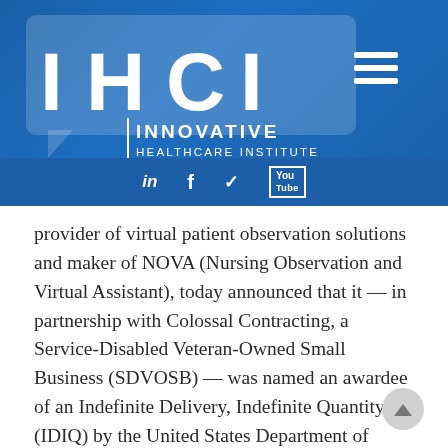[Figure (logo): IHCI - Innovative Healthcare Institute logo on blue banner background with hamburger menu icon and social media icons (LinkedIn, Facebook, Twitter, YouTube)]
provider of virtual patient observation solutions and maker of NOVA (Nursing Observation and Virtual Assistant), today announced that it — in partnership with Colossal Contracting, a Service-Disabled Veteran-Owned Small Business (SDVOSB) — was named an awardee of an Indefinite Delivery, Indefinite Quantity (IDIQ) by the United States Department of Veterans Affairs (VA)